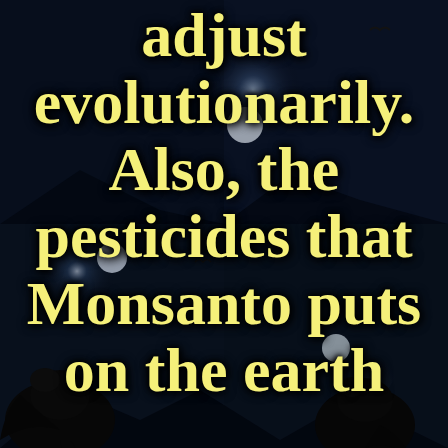[Figure (illustration): Dark atmospheric background with ravens/crows and moonlit sky, tiled/repeated pattern, deep blue-black tones with glowing light sources]
adjust evolutionarily. Also, the pesticides that Monsanto puts on the earth